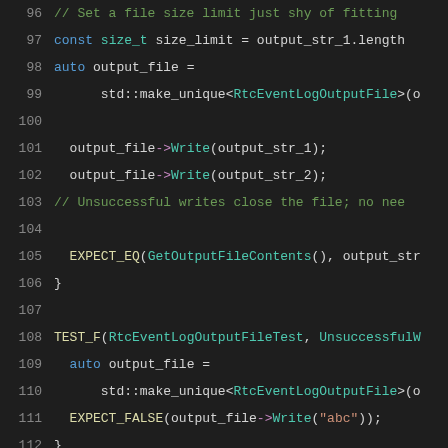[Figure (screenshot): Source code screenshot showing C++ test code with syntax highlighting on dark background. Lines 96-116 visible. Shows RtcEventLogOutputFile test functions including file size limit, Write calls, and EXPECT_EQ/EXPECT_FALSE/TEST_F macros.]